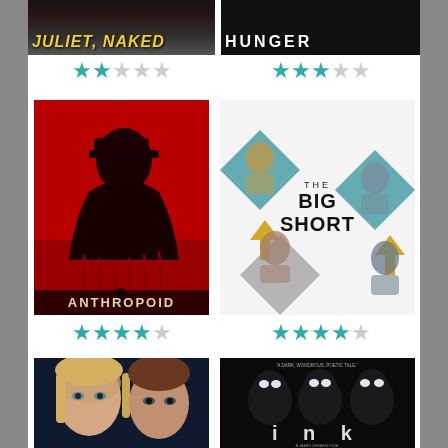[Figure (photo): Juliet, Naked movie poster - partially visible at top left, yellow italic text on dark background]
[Figure (photo): Hunger movie poster - partially visible at top right, white text on black background]
[Figure (other): Star rating: 2.5 out of 5 stars (teal/cyan stars) for Juliet Naked]
[Figure (photo): Anthropoid movie poster - red background with silhouette of Nazi officer, title in gold/tan letters at bottom]
[Figure (other): Star rating: 2.5 out of 5 stars (teal/cyan stars) for Hunger]
[Figure (photo): The Big Short movie poster - white background with diamond shapes containing actor photos, title in center]
[Figure (other): Star rating: 3.5 out of 5 stars (teal/cyan stars) for Anthropoid]
[Figure (other): Star rating: 4 out of 5 stars (teal/cyan stars) for The Big Short]
[Figure (photo): Bottom left movie poster - two faces (female blonde, male) on dark blue background]
[Figure (photo): Ink movie poster - dark background with glowing eyes, text 'i n k' and quotes 'A dark, wondrous, poetic tale']